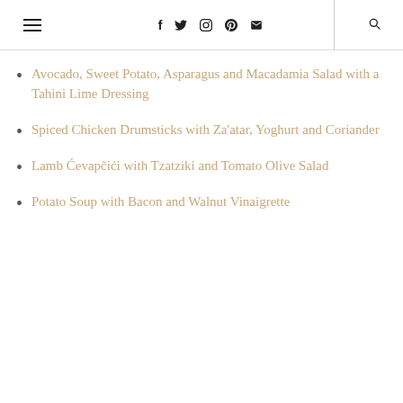Navigation header with hamburger menu, social icons (f, twitter, instagram, pinterest, mail), and search icon
Avocado, Sweet Potato, Asparagus and Macadamia Salad with a Tahini Lime Dressing
Spiced Chicken Drumsticks with Za'atar, Yoghurt and Coriander
Lamb Ćevapčići with Tzatziki and Tomato Olive Salad
Potato Soup with Bacon and Walnut Vinaigrette